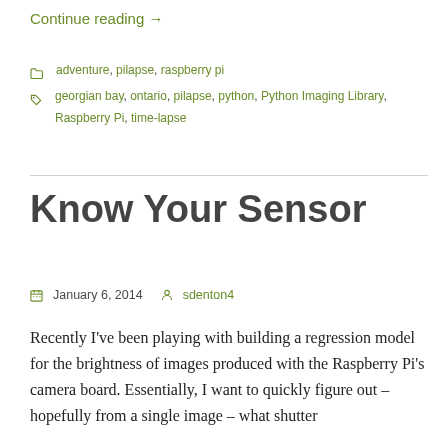Continue reading →
adventure, pilapse, raspberry pi
georgian bay, ontario, pilapse, python, Python Imaging Library, Raspberry Pi, time-lapse
Know Your Sensor
January 6, 2014   sdenton4
Recently I've been playing with building a regression model for the brightness of images produced with the Raspberry Pi's camera board. Essentially, I want to quickly figure out – hopefully from a single image – what shutter speed and ISO to use to capture images for given...